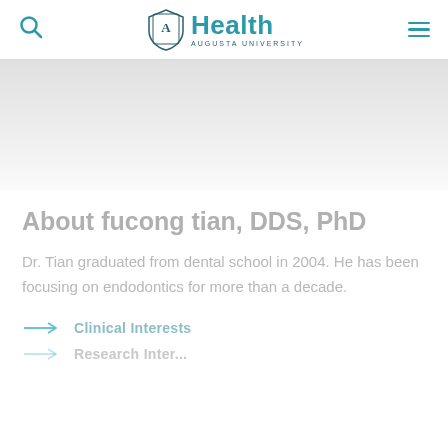Health Augusta University
[Figure (other): Gray banner/hero image area at top of profile page]
About fucong tian, DDS, PhD
Dr. Tian graduated from dental school in 2004. He has been focusing on endodontics for more than a decade.
Clinical Interests
Research Interests